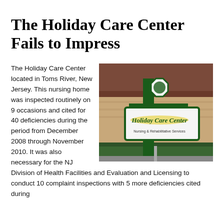The Holiday Care Center Fails to Impress
[Figure (photo): Outdoor sign for Holiday Care Center Nursing & Rehabilitative Services, a green post sign with white and yellow lettering, in front of a brick building with green hedges.]
The Holiday Care Center located in Toms River, New Jersey. This nursing home was inspected routinely on 9 occasions and cited for 40 deficiencies during the period from December 2008 through November 2010. It was also necessary for the NJ Division of Health Facilities and Evaluation and Licensing to conduct 10 complaint inspections with 5 more deficiencies cited during